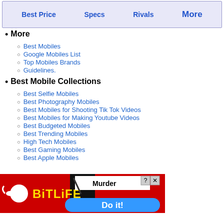Best Price  Specs  Rivals  More
More
Best Mobiles
Google Mobiles List
Top Mobiles Brands
Guidelines.
Best Mobile Collections
Best Selfie Mobiles
Best Photography Mobiles
Best Mobiles for Shooting Tik Tok Videos
Best Mobiles for Making Youtube Videos
Best Budgeted Mobiles
Best Trending Mobiles
High Tech Mobiles
Best Gaming Mobiles
Best Apple Mobiles
[Figure (screenshot): BitLife advertisement banner - Murder Do it!]